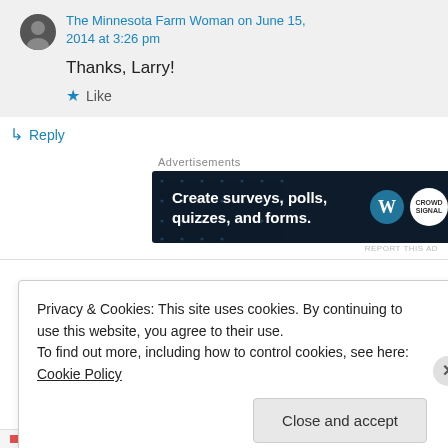The Minnesota Farm Woman on June 15, 2014 at 3:26 pm
Thanks, Larry!
★ Like
↳ Reply
Advertisements
[Figure (other): Advertisement banner: 'Create surveys, polls, quizzes, and forms.' with WordPress and Crowdsignal logos on dark navy background]
REPORT THIS AD
Privacy & Cookies: This site uses cookies. By continuing to use this website, you agree to their use.
To find out more, including how to control cookies, see here: Cookie Policy
Close and accept